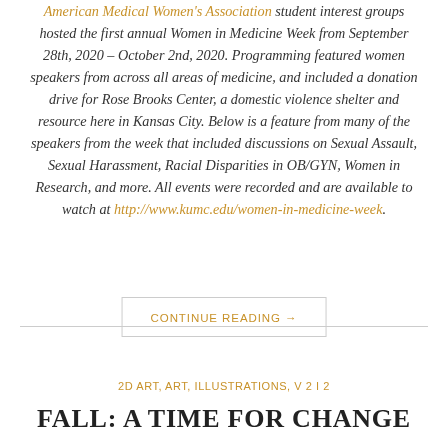American Medical Women's Association student interest groups hosted the first annual Women in Medicine Week from September 28th, 2020 – October 2nd, 2020. Programming featured women speakers from across all areas of medicine, and included a donation drive for Rose Brooks Center, a domestic violence shelter and resource here in Kansas City. Below is a feature from many of the speakers from the week that included discussions on Sexual Assault, Sexual Harassment, Racial Disparities in OB/GYN, Women in Research, and more. All events were recorded and are available to watch at http://www.kumc.edu/women-in-medicine-week.
CONTINUE READING →
2D ART, ART, ILLUSTRATIONS, V 2 I 2
FALL: A TIME FOR CHANGE